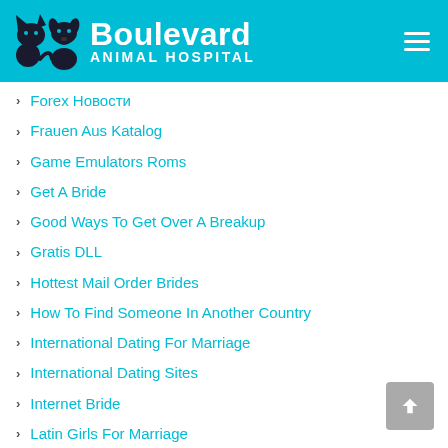[Figure (logo): Boulevard Animal Hospital logo with cat and dog silhouettes on teal/cyan background header, with hamburger menu icon on right]
Forex Новости
Frauen Aus Katalog
Game Emulators Roms
Get A Bride
Good Ways To Get Over A Breakup
Gratis DLL
Hottest Mail Order Brides
How To Find Someone In Another Country
International Dating For Marriage
International Dating Sites
Internet Bride
Latin Girls For Marriage
Lékárna online